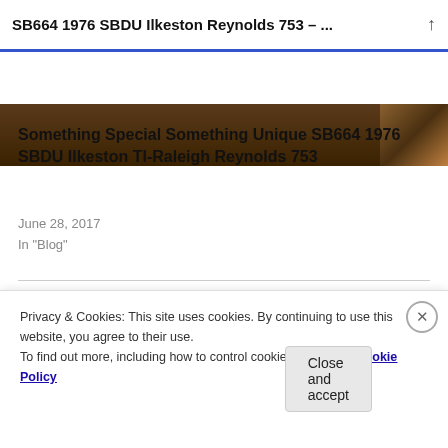SB664 1976 SBDU Ilkeston Reynolds 753 – ...
[Figure (photo): Partial photo strip of a bicycle frame detail, dark brown tones]
Something Special Something Unique SB664 1976 SBDU Ilkeston TI-Raleigh Reynolds 753
June 28, 2017
In "Blog"
Published by Neil McGowran
Blogger of all things to do with the Specialist Bicycle Development Unit (SBDU) and TI-Raleigh Ilkeston.
[Figure (photo): Circular author photo showing two people, Neil McGowran]
Privacy & Cookies: This site uses cookies. By continuing to use this website, you agree to their use.
To find out more, including how to control cookies, see here: Cookie Policy
Close and accept